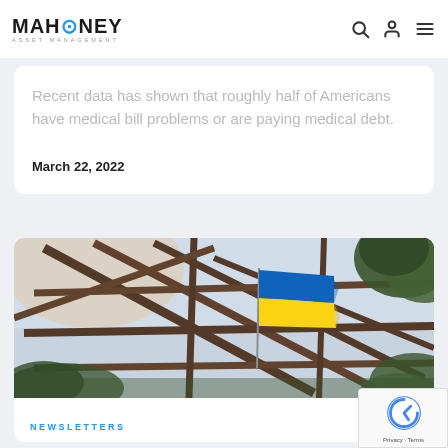MAHONEY ASSET MANAGEMENT
Recent data has shown that roughly half of Americans have medical bill problems or are paying medical debt.
March 22, 2022
[Figure (photo): Photo of a Ukrainian flag visible through a damaged metal frame structure, with trees in the background and a hazy sky. The flag shows the blue and yellow colors of Ukraine.]
NEWSLETTERS